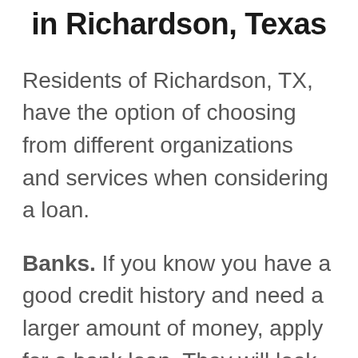in Richardson, Texas
Residents of Richardson, TX, have the option of choosing from different organizations and services when considering a loan.
Banks. If you know you have a good credit history and need a larger amount of money, apply for a bank loan. They will look into your details and either grant you the loan you wanted or